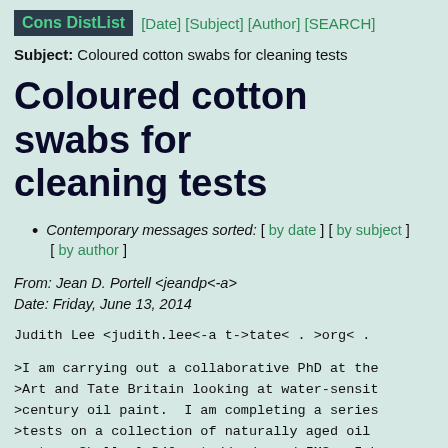Cons DistList [Date] [Subject] [Author] [SEARCH]
Subject: Coloured cotton swabs for cleaning tests
Coloured cotton swabs for cleaning tests
Contemporary messages sorted: [ by date ] [ by subject ] [ by author ]
From: Jean D. Portell <jeandp<-a>
Date: Friday, June 13, 2014
Judith Lee <judith.lee<-a t->tate< . >org< .
>I am carrying out a collaborative PhD at the
>Art and Tate Britain looking at water-sensit
>century oil paint.  I am completing a series
>tests on a collection of naturally aged oil
>water, Shellsol D40, stoddards and IMS.  I h
>manufactured white cotton swabs for testing